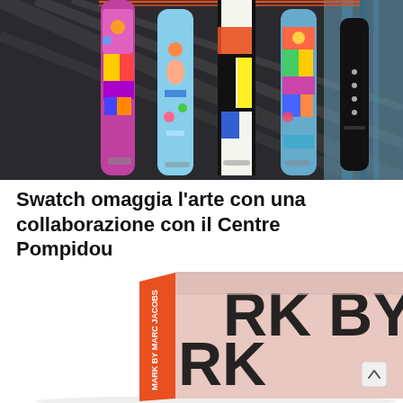[Figure (photo): Six colorful Swatch watch straps displayed vertically against a striped background. The straps feature various artistic designs including colorful illustrations, geometric patterns (Mondrian-style), and solid black. A small black Swatch watch is shown on the far right.]
Swatch omaggia l’arte con una collaborazione con il Centre Pompidou
Sei capolavori rielaborati sotto forma di splendidi orologi
[Figure (photo): A pink box seen at an angle with large bold black text reading 'RK BY' on the right face and 'RK' partially visible on the front face. An orange spine is visible on the left side with white text. This appears to be a Marc by Marc Jacobs branded box or book.]